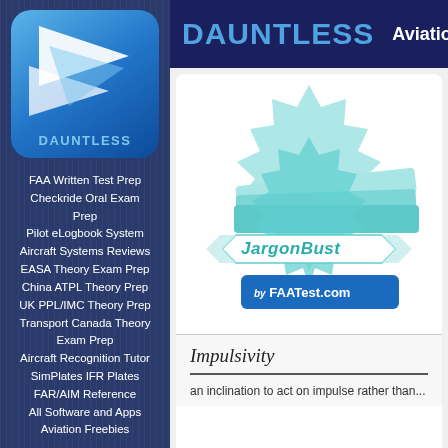[Figure (logo): Dauntless Aviation logo - blue rounded square with white wing/chevron shapes and DAUNTLESS text]
FAA Written Test Prep
Checkride Oral Exam Prep
Pilot eLogbook System
Aircraft Systems Reviews
EASA Theory Exam Prep
China ATPL Theory Prep
UK PPL/IMC Theory Prep
Transport Canada Theory Exam Prep
Aircraft Recognition Tutor
SimPlates IFR Plates
FAR/AIM Reference
All Software and Apps
Aviation Freebies
DAUNTLESS   Aviatio
[Figure (logo): JargonBuster logo by FAATest.com - teal starburst badge with ribbon banner and stacked book/cards graphic]
Impulsivity
an inclination to act on impulse rather than...